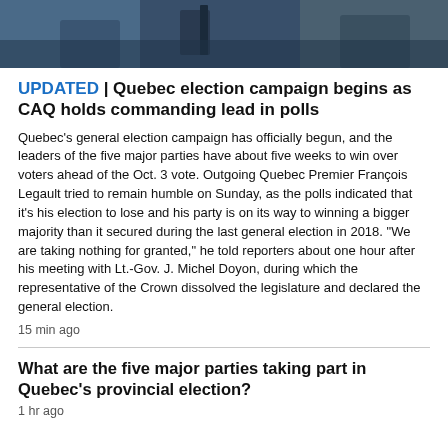[Figure (photo): Cropped photo showing people in dark clothing, bottom portion only visible, blue-grey toned]
UPDATED | Quebec election campaign begins as CAQ holds commanding lead in polls
Quebec's general election campaign has officially begun, and the leaders of the five major parties have about five weeks to win over voters ahead of the Oct. 3 vote. Outgoing Quebec Premier François Legault tried to remain humble on Sunday, as the polls indicated that it's his election to lose and his party is on its way to winning a bigger majority than it secured during the last general election in 2018. "We are taking nothing for granted," he told reporters about one hour after his meeting with Lt.-Gov. J. Michel Doyon, during which the representative of the Crown dissolved the legislature and declared the general election.
15 min ago
What are the five major parties taking part in Quebec's provincial election?
1 hr ago